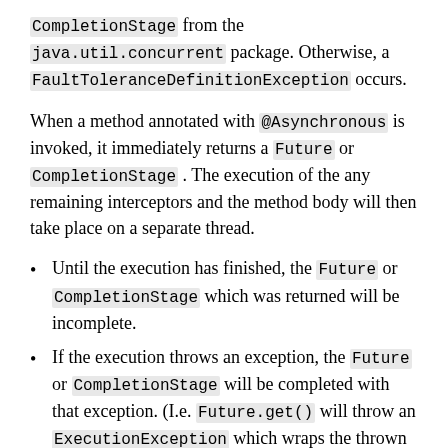CompletionStage from the java.util.concurrent package. Otherwise, a FaultToleranceDefinitionException occurs.
When a method annotated with @Asynchronous is invoked, it immediately returns a Future or CompletionStage . The execution of the any remaining interceptors and the method body will then take place on a separate thread.
Until the execution has finished, the Future or CompletionStage which was returned will be incomplete.
If the execution throws an exception, the Future or CompletionStage will be completed with that exception. (I.e. Future.get() will throw an ExecutionException which wraps the thrown